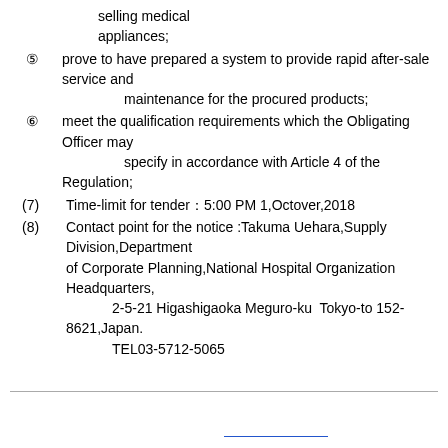selling medical appliances;
⑤ prove to have prepared a system to provide rapid after-sale service and maintenance for the procured products;
⑥ meet the qualification requirements which the Obligating Officer may specify in accordance with Article 4 of the Regulation;
(7) Time-limit for tender：5:00 PM 1,Octover,2018
(8) Contact point for the notice :Takuma Uehara,Supply Division,Department of Corporate Planning,National Hospital Organization Headquarters, 2-5-21 Higashigaoka Meguro-ku Tokyo-to 152-8621,Japan. TEL03-5712-5065
（日本語のページへのリンク）
（日本語）